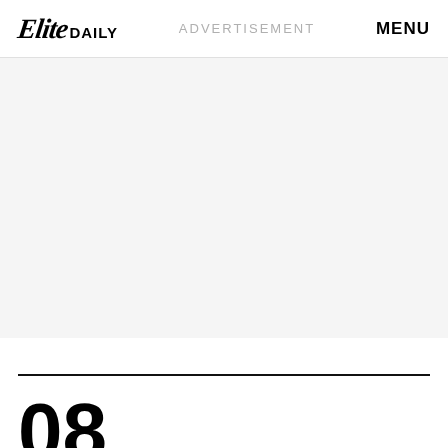Elite DAILY  ADVERTISEMENT  MENU
[Figure (other): Light gray advertisement placeholder area]
08